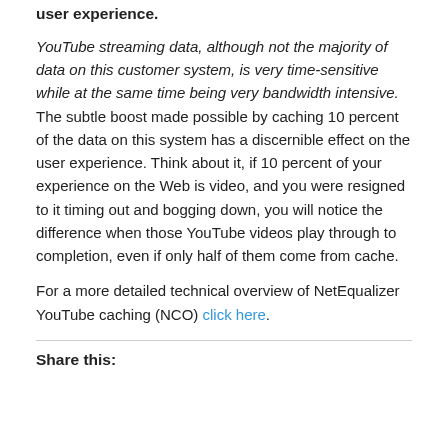user experience.
YouTube streaming data, although not the majority of data on this customer system, is very time-sensitive while at the same time being very bandwidth intensive.  The subtle boost made possible by caching 10 percent of the data on this system has a discernible effect on the user experience. Think about it, if 10 percent of your experience on the Web is video, and you were resigned to it timing out and bogging down, you will notice the difference when those YouTube videos play through to completion, even if only half of them come from cache.
For a more detailed technical overview of NetEqualizer YouTube caching (NCO) click here.
Share this: